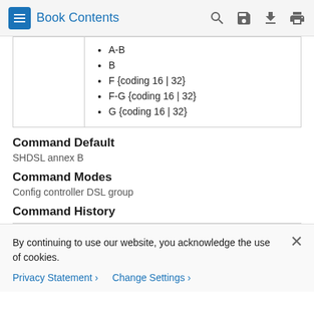Book Contents
|  | A-B |
|  | B |
|  | F {coding 16 | 32} |
|  | F-G {coding 16 | 32} |
|  | G {coding 16 | 32} |
Command Default
SHDSL annex B
Command Modes
Config controller DSL group
Command History
By continuing to use our website, you acknowledge the use of cookies.
Privacy Statement > Change Settings >